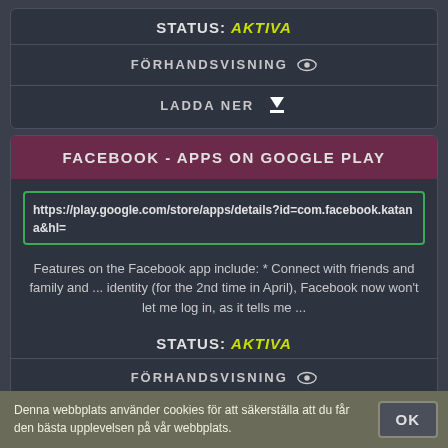STATUS: AKTIVA
FÖRHANDSVISNING 👁
LADDA NER ⬇
FACEBOOK - APPS ON GOOGLE PLAY
https://play.google.com/store/apps/details?id=com.facebook.katana&hl=
Features on the Facebook app include: * Connect with friends and family and ... identity (for the 2nd time in April), Facebook now won't let me log in, as it tells me ...
STATUS: AKTIVA
FÖRHANDSVISNING 👁
Denna webbplats använder cookies för att säkerställa att du får den bästa upplevelsen på vår webbplats.